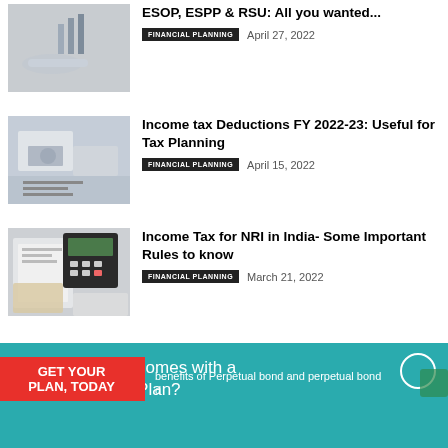[Figure (photo): Person holding small graph/chart figure in hand, finance theme]
ESOP, ESPP & RSU: All you wanted...
FINANCIAL PLANNING   April 27, 2022
[Figure (photo): Person using calculator with documents on desk, financial planning theme]
Income tax Deductions FY 2022-23: Useful for Tax Planning
FINANCIAL PLANNING   April 15, 2022
[Figure (photo): Calculator, notebooks, pen and tax documents on desk, NRI tax theme]
Income Tax for NRI in India- Some Important Rules to know
FINANCIAL PLANNING   March 21, 2022
Good Investing comes with a Good Financial Plan?
GET YOUR PLAN, TODAY
benefits of Perpetual bond and perpetual bond